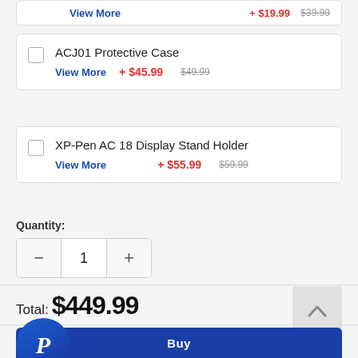View More   + $19.99  $39.99
ACJ01 Protective Case — View More — + $45.99  $49.99
XP-Pen AC 18 Display Stand Holder — View More — + $55.99  $59.99
Quantity:
— 1 +
Total: $449.99
[Figure (logo): PayPal circular blue button with white P logo]
Buy